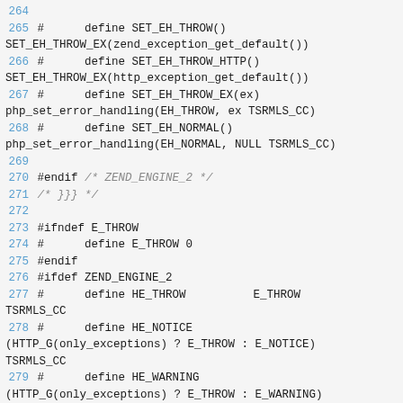Source code listing lines 264-279, C preprocessor macro definitions for exception handling in PHP/Zend engine
[Figure (screenshot): Code listing showing C preprocessor defines for SET_EH_THROW, SET_EH_THROW_HTTP, SET_EH_THROW_EX, SET_EH_NORMAL, E_THROW, HE_THROW, HE_NOTICE, HE_WARNING macros]